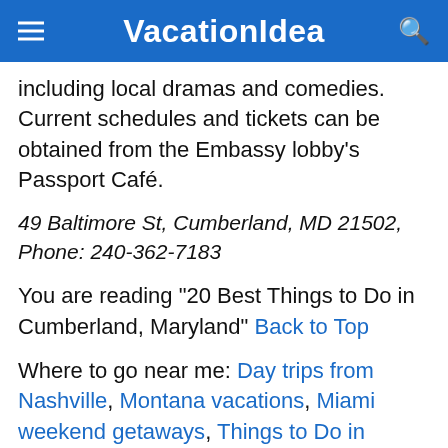VacationIdea
including local dramas and comedies. Current schedules and tickets can be obtained from the Embassy lobby's Passport Café.
49 Baltimore St, Cumberland, MD 21502, Phone: 240-362-7183
You are reading "20 Best Things to Do in Cumberland, Maryland" Back to Top
Where to go near me: Day trips from Nashville, Montana vacations, Miami weekend getaways, Things to Do in Northern Virginia, Things to Do on the Beach, New...